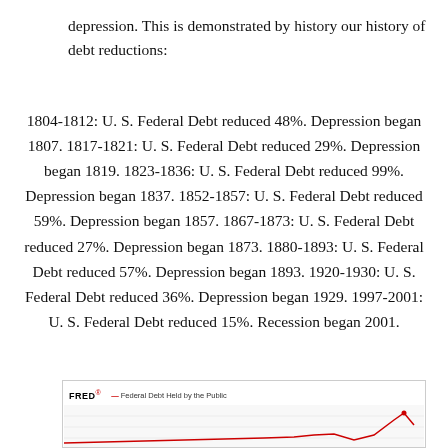depression. This is demonstrated by history our history of debt reductions:
1804-1812: U. S. Federal Debt reduced 48%. Depression began 1807. 1817-1821: U. S. Federal Debt reduced 29%. Depression began 1819. 1823-1836: U. S. Federal Debt reduced 99%. Depression began 1837. 1852-1857: U. S. Federal Debt reduced 59%. Depression began 1857. 1867-1873: U. S. Federal Debt reduced 27%. Depression began 1873. 1880-1893: U. S. Federal Debt reduced 57%. Depression began 1893. 1920-1930: U. S. Federal Debt reduced 36%. Depression began 1929. 1997-2001: U. S. Federal Debt reduced 15%. Recession began 2001.
[Figure (screenshot): FRED chart showing Federal Debt Held by the Public, partially visible at the bottom of the page]